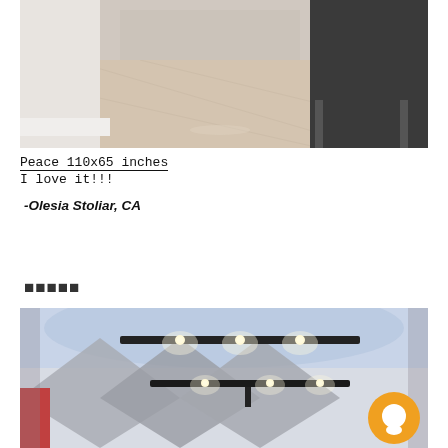[Figure (photo): Interior room photo showing a hallway with light wood flooring, white baseboard trim, and gray/dark cabinet furniture. Natural light illuminates the wood floor.]
Peace 110x65 inches
I love it!!!
-Olesia Stoliar, CA
★★★★★
[Figure (photo): Interior ceiling photo showing modern black linear pendant lights with warm spotlights mounted on a light gray ceiling. Geometric wall panels visible below with decorative art on the wall.]